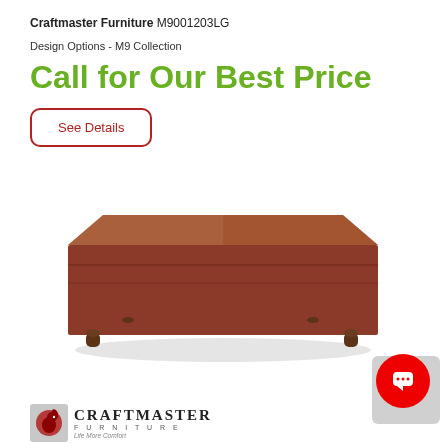Craftmaster Furniture M9001203LG
Design Options - M9 Collection
Call for Our Best Price
See Details
[Figure (photo): A square upholstered ottoman in reddish-brown fabric with dark turned wooden legs, photographed on a white background.]
[Figure (logo): Craftmaster Furniture logo with red squirrel icon, brand name in serif capitals, and tagline 'Life More Comfort']